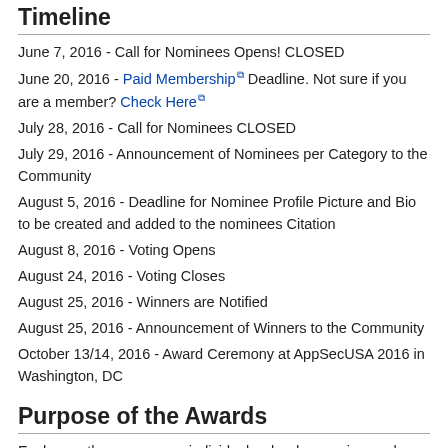Timeline
June 7, 2016 - Call for Nominees Opens! CLOSED
June 20, 2016 - Paid Membership Deadline. Not sure if you are a member? Check Here
July 28, 2016 - Call for Nominees CLOSED
July 29, 2016 - Announcement of Nominees per Category to the Community
August 5, 2016 - Deadline for Nominee Profile Picture and Bio to be created and added to the nominees Citation
August 8, 2016 - Voting Opens
August 24, 2016 - Voting Closes
August 25, 2016 - Winners are Notified
August 25, 2016 - Announcement of Winners to the Community
October 13/14, 2016 - Award Ceremony at AppSecUSA 2016 in Washington, DC
Purpose of the Awards
Each year there are many individuals who do amazing work, dedicating countless hours to share, improve, and strengthen the OWASP mission. Some of these individuals are well known to the